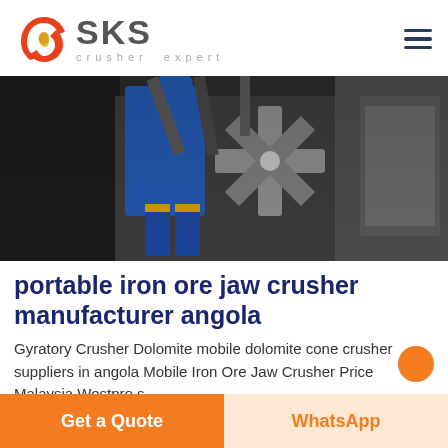[Figure (logo): SKS Crusher Expert logo with red swirl emblem and grey SKS text]
[Figure (photo): Industrial crusher machinery with workers in blue overalls in a factory setting]
portable iron ore jaw crusher manufacturer angola
Gyratory Crusher Dolomite mobile dolomite cone crusher suppliers in angola Mobile Iron Ore Jaw Crusher Price Malaysia Westpro s